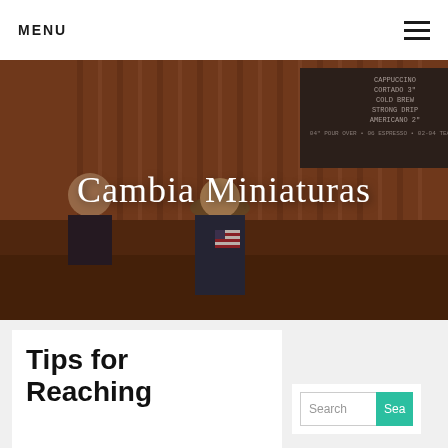MENU
[Figure (photo): Coffee shop interior with baristas behind counter, menu board visible, customers in foreground. Dark warm tones with reddish-brown overlay.]
Cambia Miniaturas
Tips for Reaching
Search  Sea